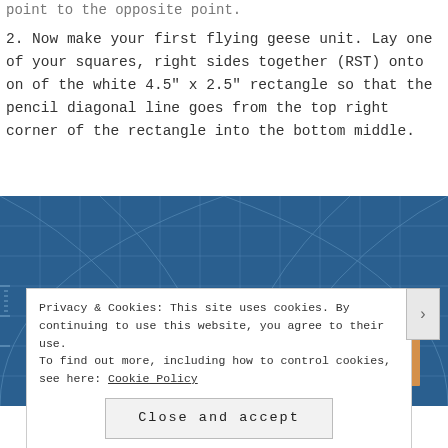point to the opposite point.
2. Now make your first flying geese unit. Lay one of your squares, right sides together (RST) onto on of the white 4.5" x 2.5" rectangle so that the pencil diagonal line goes from the top right corner of the rectangle into the bottom middle.
[Figure (photo): Photo of a blue cutting mat with grid lines, with fabric pieces laid on it: a light yellow-green rectangle and an orange/tan rectangle placed side by side.]
Privacy & Cookies: This site uses cookies. By continuing to use this website, you agree to their use.
To find out more, including how to control cookies, see here: Cookie Policy
Close and accept